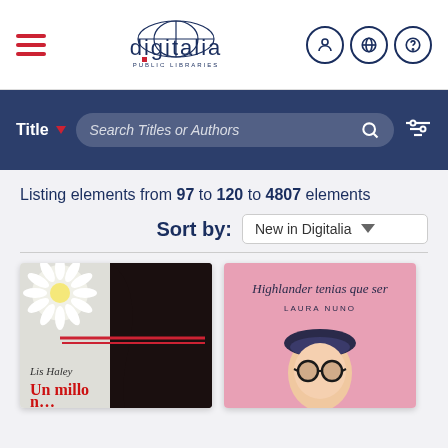[Figure (screenshot): Digitalia Public Libraries website header with hamburger menu, logo, and user/globe/help icons]
[Figure (screenshot): Search bar with Title dropdown, Search Titles or Authors input, search icon and filter icon on dark blue background]
Listing elements from 97 to 120 to 4807 elements
Sort by: New in Digitalia
[Figure (photo): Book cover: Lis Haley - Un millor... with daisy flowers and dark braided hair]
[Figure (photo): Book cover: Highlander tenias que ser by Laura Nuno, pink background with illustrated woman in beret]